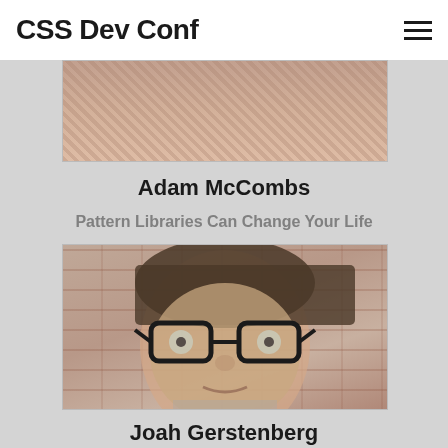CSS Dev Conf
[Figure (photo): Partial photo of Adam McCombs, showing upper portion of a person wearing a plaid shirt, cropped at top]
Adam McCombs
Pattern Libraries Can Change Your Life
[Figure (photo): Photo of Joah Gerstenberg, a young person with dark hair and glasses, in front of a brick wall, with muted/desaturated color treatment]
Joah Gerstenberg
HTTP/2 FTW